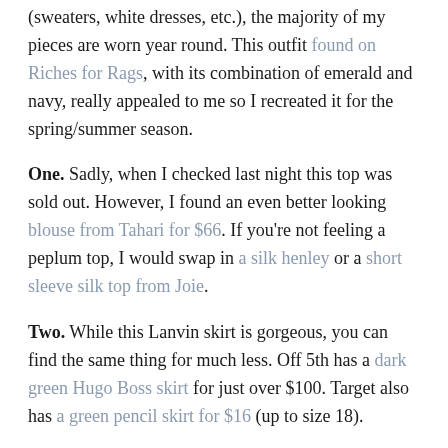(sweaters, white dresses, etc.), the majority of my pieces are worn year round.  This outfit found on Riches for Rags, with its combination of emerald and navy, really appealed to me so I recreated it for the spring/summer season.
One. Sadly, when I checked last night this top was sold out.  However, I found an even better looking blouse from Tahari for $66.  If you're not feeling a peplum top, I would swap in a silk henley or a short sleeve silk top from Joie.
Two. While this Lanvin skirt is gorgeous, you can find the same thing for much less.  Off 5th has a dark green Hugo Boss skirt for just over $100.  Target also has a green pencil skirt for $16 (up to size 18).
Other color combinations for this dark green skirt